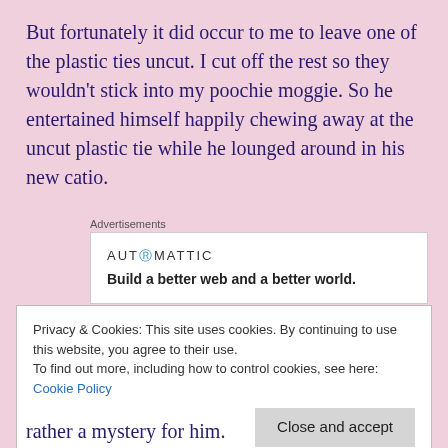But fortunately it did occur to me to leave one of the plastic ties uncut. I cut off the rest so they wouldn't stick into my poochie moggie. So he entertained himself happily chewing away at the uncut plastic tie while he lounged around in his new catio.
Advertisements
AUTOMATTIC
Build a better web and a better world.
He loves his own solitary space. He can catch cool breezes there in the evening, getting some relief from
Privacy & Cookies: This site uses cookies. By continuing to use this website, you agree to their use.
To find out more, including how to control cookies, see here: Cookie Policy
Close and accept
rather a mystery for him.